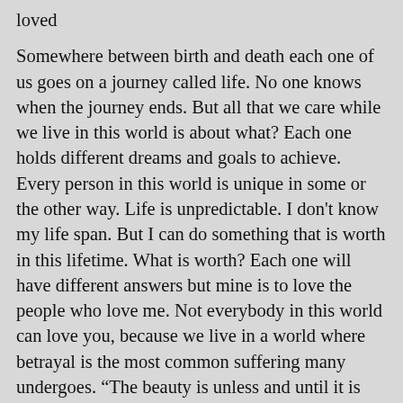loved
Somewhere between birth and death each one of us goes on a journey called life. No one knows when the journey ends. But all that we care while we live in this world is about what? Each one holds different dreams and goals to achieve. Every person in this world is unique in some or the other way. Life is unpredictable. I don't know my life span. But I can do something that is worth in this lifetime. What is worth? Each one will have different answers but mine is to love the people who love me. Not everybody in this world can love you, because we live in a world where betrayal is the most common suffering many undergoes. “The beauty is unless and until it is done by your so called trust worthy it’s not called as betrayal”, there are people who suffer with heart breaks more than heart attacks. Love is something that can be built but cannot be broken, and if it's broken then there is no love. But...